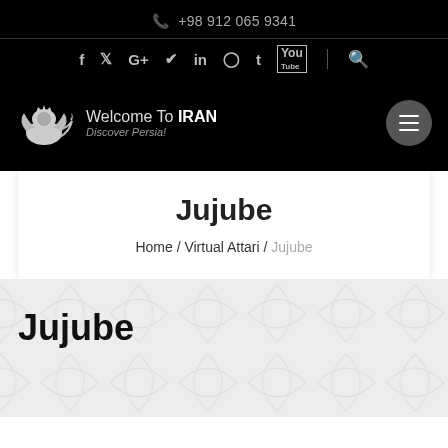📞 +98 912 065 9341
f  𝕏  G+  ⊕  in  ⊚  t  You  |  🔍
Welcome To IRAN – Discover Persia!
Jujube
Home / Virtual Attari / Jujube
Jujube